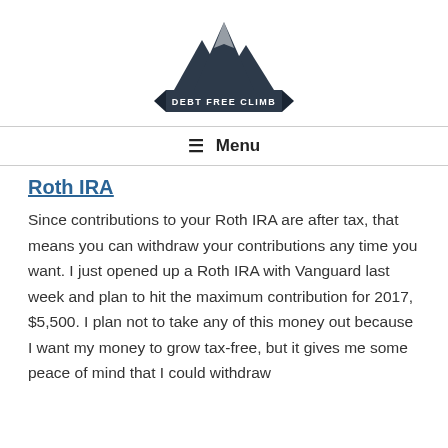[Figure (logo): Debt Free Climb logo with mountain peaks and banner reading DEBT FREE CLIMB]
≡ Menu
Roth IRA
Since contributions to your Roth IRA are after tax, that means you can withdraw your contributions any time you want. I just opened up a Roth IRA with Vanguard last week and plan to hit the maximum contribution for 2017, $5,500. I plan not to take any of this money out because I want my money to grow tax-free, but it gives me some peace of mind that I could withdraw my contributions if I need to.